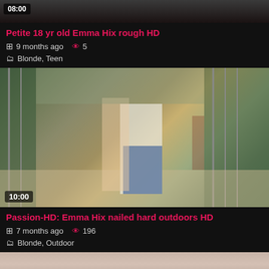[Figure (screenshot): Top portion of video thumbnail cropped, dark background with partial image]
Petite 18 yr old Emma Hix rough HD
9 months ago  5
Blonde,  Teen
[Figure (photo): Outdoor scene showing two people near a chain-link fence, duration badge 10:00]
Passion-HD: Emma Hix nailed hard outdoors HD
7 months ago  196
Blonde,  Outdoor
[Figure (photo): Bottom partial thumbnail, light beige/pink tones]